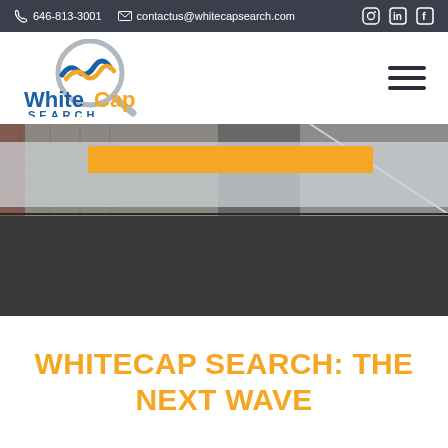646-813-3001  contactus@whitecapsearch.com
[Figure (logo): WhiteCap Search logo — circular magnifying glass icon with blue and orange wave, text 'WhiteCap SEARCH' in blue and orange]
[Figure (photo): Hero image of patterned stone/brick pavement with an orange horizontal bar overlay on a semi-transparent white band]
WHITECAP SEARCH: THE NEXT WAVE